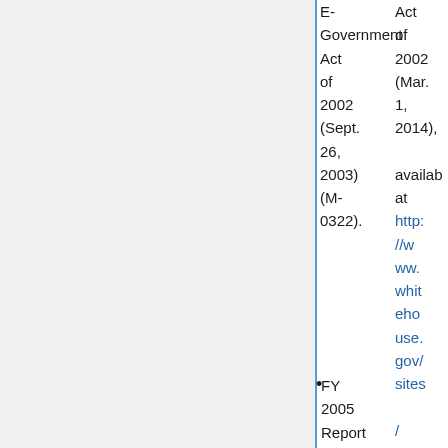E-Government Act of 2002 (Sept. 26, 2003) (M-0322).
FY 2005 Report to Congress on Implementation of
Act of 2002 (Mar. 1, 2014), available at http://www.whitehouse.gov/sites/default/